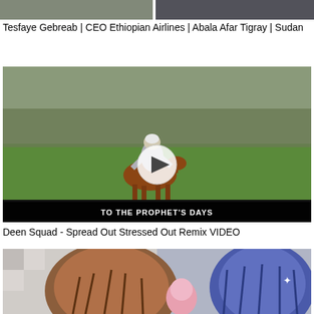[Figure (screenshot): Two small video thumbnails side by side at the top]
Tesfaye Gebreab | CEO Ethiopian Airlines | Abala Afar Tigray | Sudan
[Figure (screenshot): Video thumbnail showing a man in white riding a brown horse in a green field with trees, with a play button overlay and text 'TO THE PROPHET'S DAYS' at the bottom]
Deen Squad - Spread Out Stressed Out Remix VIDEO
[Figure (screenshot): Animated characters thumbnail at the bottom, showing two cartoon-style characters with brown and blue hair]